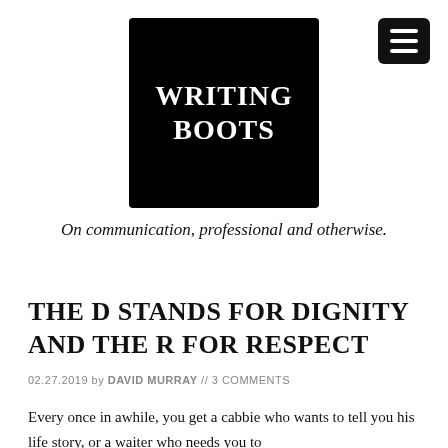[Figure (logo): Writing Boots logo: black square with white bold text reading WRITING BOOTS]
[Figure (other): Hamburger menu button: dark rounded rectangle with three white horizontal lines]
On communication, professional and otherwise.
THE D STANDS FOR DIGNITY AND THE R FOR RESPECT
02.27.2019 by DAVID MURRAY // 3 COMMENTS
Every once in awhile, you get a cabbie who wants to tell you his life story, or a waiter who needs you to